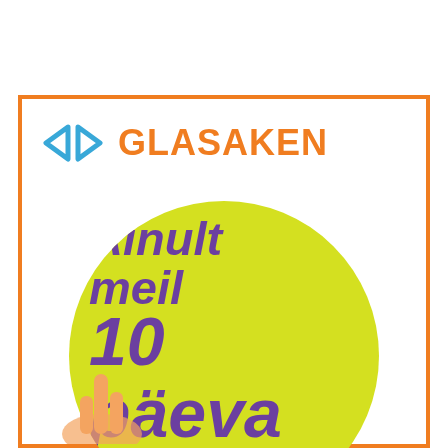[Figure (logo): Glasaken brand logo with two mirrored diamond/arrow shapes in blue and the text GLASAKEN in orange]
[Figure (infographic): Yellow circle with large purple bold italic text reading 'Ainult meil 10 päeva akende' on white background inside orange border box. A hand is visible at the bottom of the circle.]